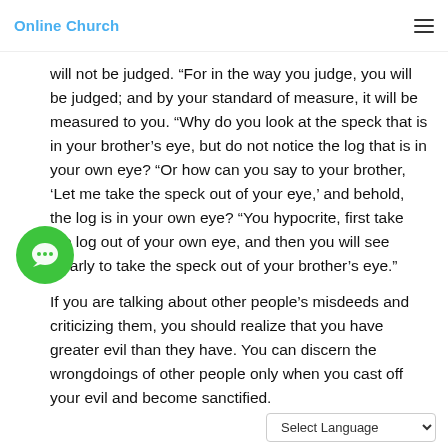Online Church
will not be judged. “For in the way you judge, you will be judged; and by your standard of measure, it will be measured to you. “Why do you look at the speck that is in your brother’s eye, but do not notice the log that is in your own eye? “Or how can you say to your brother, ‘Let me take the speck out of your eye,’ and behold, the log is in your own eye? “You hypocrite, first take the log out of your own eye, and then you will see clearly to take the speck out of your brother’s eye.”
If you are talking about other people’s misdeeds and criticizing them, you should realize that you have greater evil than they have. You can discern the wrongdoings of other people only when you cast off your evil and become sanctified.